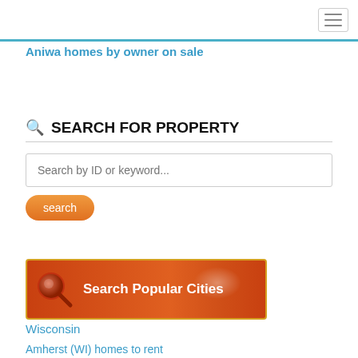Aniwa homes by owner on sale
Aniwa homes by owner on sale
SEARCH FOR PROPERTY
Search by ID or keyword...
search
[Figure (infographic): Search Popular Cities banner with orange background and magnifier icon]
Wisconsin
Amherst (WI) homes to rent
Chili (WI) homes to rent
Auburndale (WI) homes to rent